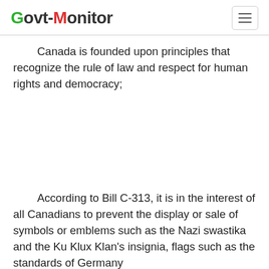Govt-Monitor
Canada is founded upon principles that recognize the rule of law and respect for human rights and democracy;
According to Bill C-313, it is in the interest of all Canadians to prevent the display or sale of symbols or emblems such as the Nazi swastika and the Ku Klux Klan's insignia, flags such as the standards of Germany